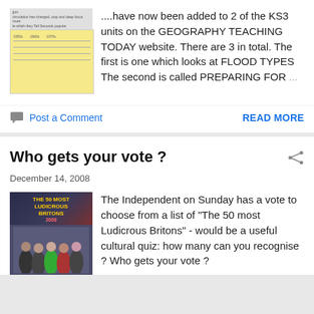[Figure (screenshot): Thumbnail image showing a yellow-background table with header text and timeline labels (1950s, 1960s, 1970s)]
....have now been added to 2 of the KS3 units on the GEOGRAPHY TEACHING TODAY website. There are 3 in total. The first is one which looks at FLOOD TYPES The second is called PREPARING FOR ...
Post a Comment
READ MORE
Who gets your vote ?
December 14, 2008
[Figure (photo): Book/magazine cover titled 'The 50 Most Ludicrous Britons 2008' showing a group photo of various people]
The Independent on Sunday has a vote to choose from a list of "The 50 most Ludicrous Britons" - would be a useful cultural quiz: how many can you recognise ? Who gets your vote ?